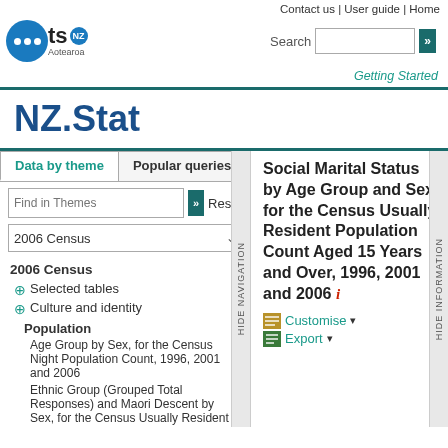Contact us | User guide | Home
[Figure (logo): Statistics NZ logo with blue circle and 'ts NZ' text]
NZ.Stat
Data by theme | Popular queries
Find in Themes | Reset
2006 Census
2006 Census
Selected tables
Culture and identity
Population
Age Group by Sex, for the Census Night Population Count, 1996, 2001 and 2006
Ethnic Group (Grouped Total Responses) and Maori Descent by Sex, for the Census Usually Resident Population Count, 1991, 1996, 2001 and 2006
Social Marital Status by Age Group and Sex, for the Census Usually Resident Population Count Aged 15 Years and Over, 1996, 2001 and 2006
Customise
Export